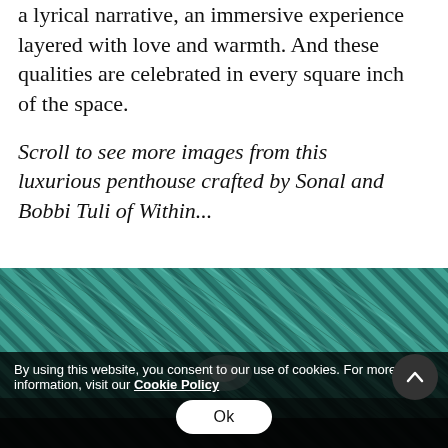a lyrical narrative, an immersive experience layered with love and warmth. And these qualities are celebrated in every square inch of the space.
Scroll to see more images from this luxurious penthouse crafted by Sonal and Bobbi Tuli of Within...
[Figure (photo): Close-up photo of teal/turquoise textured fabric with diagonal ribbed pattern, partially obscured by a dark overlay at the bottom]
By using this website, you consent to our use of cookies. For more information, visit our Cookie Policy
Ok